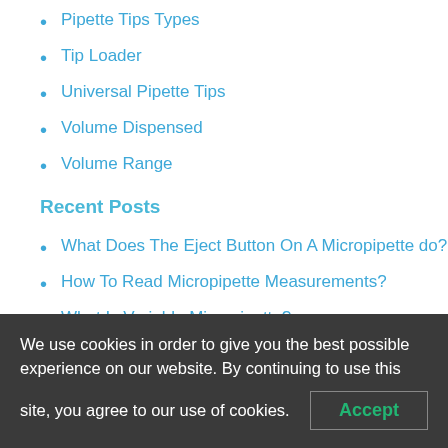Pipette Tips Types
Tip Loader
Universal Pipette Tips
Volume Dispensed
Volume Range
Recent Posts
What Does The Eject Button On A Micropipette do?
How To Read Micropipette Measurements?
What Is Variable Micropipette?
How Do You Use An Adjustable Micropipette?
What Is A Single Channel Micropipette?
What Are The Classifications Of Micropipette?
We use cookies in order to give you the best possible experience on our website. By continuing to use this site, you agree to our use of cookies.